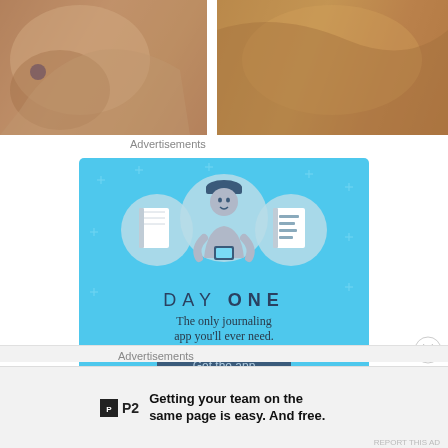[Figure (photo): Two side-by-side cropped photos; left shows a person's shoulder area in a tan/pink jacket, right shows a close-up of a shiny metallic or fabric surface in golden-brown tones.]
Advertisements
[Figure (illustration): Day One journaling app advertisement on a blue background. Shows three circular icons (blank journal, person using phone with hat, and a text list/journal), the text 'DAY ONE', subtitle 'The only journaling app you'll ever need.', and a dark blue 'Get the app' button.]
Advertisements
[Figure (logo): P2 logo: small black square with white P2 text, followed by bold P2 text label.]
Getting your team on the same page is easy. And free.